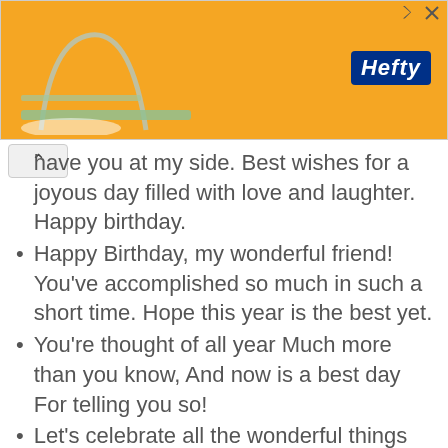[Figure (advertisement): Orange Hefty brand advertisement banner with arch/logo graphic on left and Hefty logo badge on right]
have you at my side. Best wishes for a joyous day filled with love and laughter. Happy birthday.
Happy Birthday, my wonderful friend! You’ve accomplished so much in such a short time. Hope this year is the best yet.
You’re thought of all year Much more than you know, And now is a best day For telling you so!
Let’s celebrate all the wonderful things that make you so special — not just on your special day, but on every day of the year!
Have a wonderful, happy, healthy